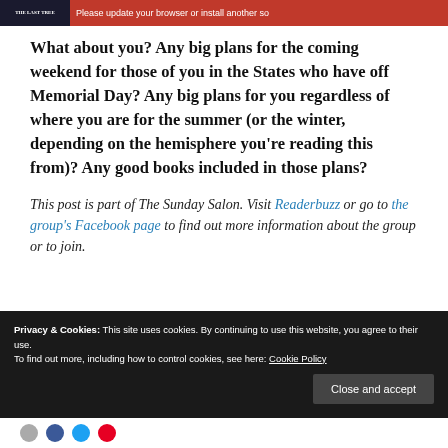Please update your browser or install another so…
What about you? Any big plans for the coming weekend for those of you in the States who have off Memorial Day? Any big plans for you regardless of where you are for the summer (or the winter, depending on the hemisphere you're reading this from)? Any good books included in those plans?
This post is part of The Sunday Salon. Visit Readerbuzz or go to the group's Facebook page to find out more information about the group or to join.
Privacy & Cookies: This site uses cookies. By continuing to use this website, you agree to their use. To find out more, including how to control cookies, see here: Cookie Policy
Close and accept